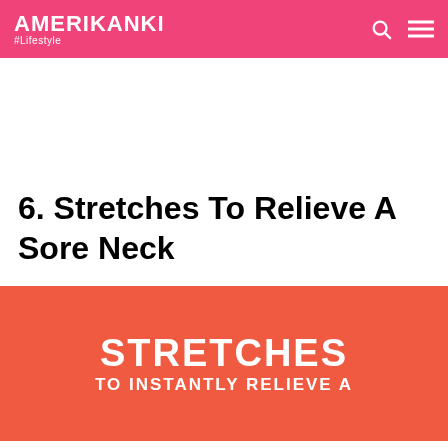AMERIKANKI #Lifestyle
6. Stretches To Relieve A Sore Neck
[Figure (infographic): Red/coral background infographic with large white bold text reading STRETCHES and below it TO INSTANTLY RELIEVE A (text cut off at bottom)]